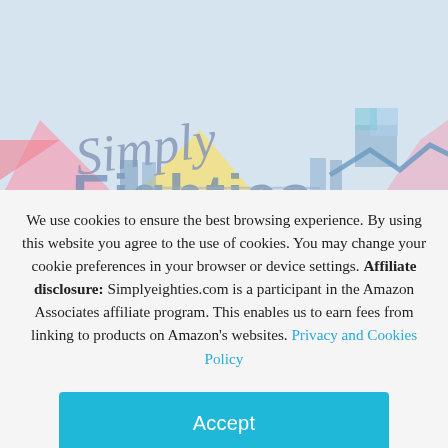[Figure (screenshot): Website header with light blue background, decorative 80s-style graphic elements (pink, yellow, teal shapes), and 'Simply Eighties' logo text in script font. Hamburger menu icon at top center.]
We use cookies to ensure the best browsing experience. By using this website you agree to the use of cookies. You may change your cookie preferences in your browser or device settings. Affiliate disclosure: Simplyeighties.com is a participant in the Amazon Associates affiliate program. This enables us to earn fees from linking to products on Amazon's websites. Privacy and Cookies Policy
Accept